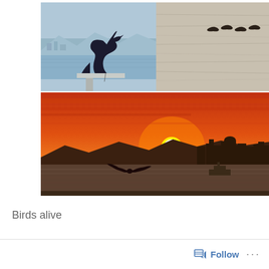[Figure (photo): Three bird photos arranged in a grid: top-left shows a Steller's jay silhouette perched on a ledge with water and mountains in background; top-right shows birds flying in silhouette over water surface; bottom shows a dramatic orange sunset over a city skyline with a bird flying in foreground and a boat on the water.]
Birds alive
Follow ...